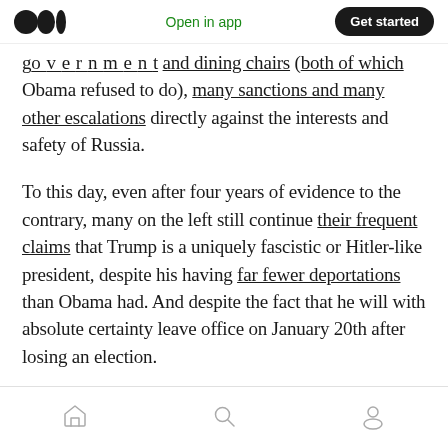Medium app header with logo, Open in app link, and Get started button
government and dining chairs (both of which Obama refused to do), many sanctions and many other escalations directly against the interests and safety of Russia.
To this day, even after four years of evidence to the contrary, many on the left still continue their frequent claims that Trump is a uniquely fascistic or Hitler-like president, despite his having far fewer deportations than Obama had. And despite the fact that he will with absolute certainty leave office on January 20th after losing an election.
Bottom navigation bar with home, search, and profile icons